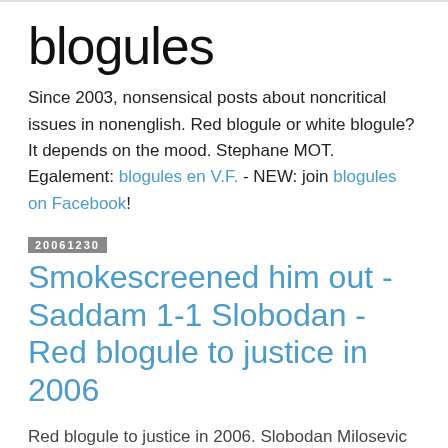blogules
Since 2003, nonsensical posts about noncritical issues in nonenglish. Red blogule or white blogule? It depends on the mood. Stephane MOT. Egalement: blogules en V.F. - NEW: join blogules on Facebook!
20061230
Smokescreened him out - Saddam 1-1 Slobodan - Red blogule to justice in 2006
Red blogule to justice in 2006. Slobodan Milosevic died unconvinced and Saddam Hussein unconvincingly. The former in the middle of a fair trial that took too long, the latter